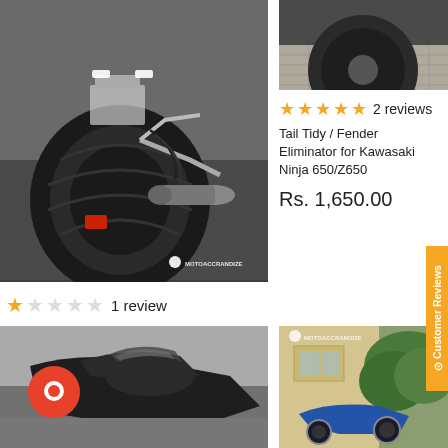[Figure (photo): Rear view of a motorcycle (Kawasaki Ninja 300) showing exhaust, rear tire, and fender eliminator kit installed, with MOTOACCRANDIZE watermark]
[Figure (photo): Close-up of a motorcycle front wheel on tiled pavement, top portion of product image]
★★★★★ 2 reviews
Tail Tidy / Fender Eliminator for Kawasaki Ninja 650/Z650
Rs. 1,650.00
★☆☆☆☆ 1 review
Tail Tidy / Fender Eliminator for Kawasaki Ninja 300
Rs. 1,100.00
[Figure (photo): Close-up of motorcycle tank/fairing area in dark color with orange chat bubble widget overlay]
[Figure (photo): Blue motorcycle (scooter/bike) parked near building with green foliage in background]